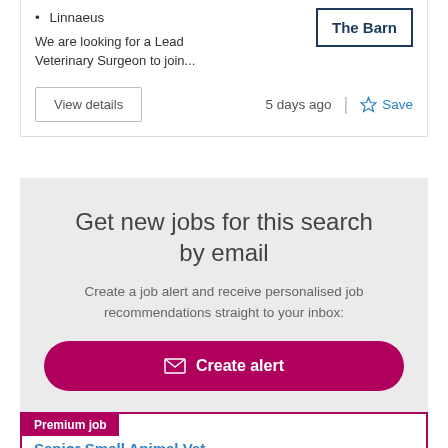Linnaeus
[Figure (logo): The Barn company logo in a bordered box]
We are looking for a Lead Veterinary Surgeon to join...
View details
5 days ago
Save
Get new jobs for this search by email
Create a job alert and receive personalised job recommendations straight to your inbox:
✉ Create alert
Premium job
Senior Small Animal Vet...